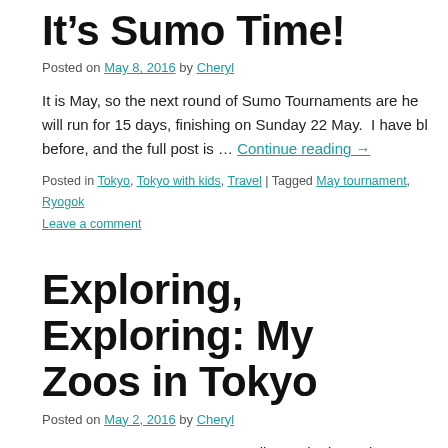It's Sumo Time!
Posted on May 8, 2016 by Cheryl
It is May, so the next round of Sumo Tournaments are he will run for 15 days, finishing on Sunday 22 May.  I have bl before, and the full post is … Continue reading →
Posted in Tokyo, Tokyo with kids, Travel | Tagged May tournament, Ryogok Leave a comment
Exploring, Exploring: My Zoos in Tokyo
Posted on May 2, 2016 by Cheryl
Note: Japanese zoos are generally not the best place re the zoos, I have visited have a few cages where my heart